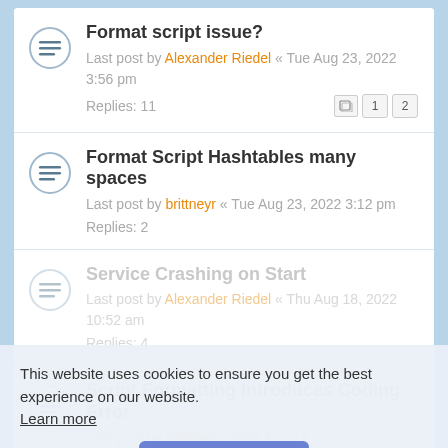Format script issue?
Last post by Alexander Riedel « Tue Aug 23, 2022 3:56 pm
Replies: 11
Format Script Hashtables many spaces
Last post by brittneyr « Tue Aug 23, 2022 3:12 pm
Replies: 2
Service Crashing on Start
Last post by Alexander Riedel « Thu Aug 18, 2022 10:52 am
Replies: 4
Script Formatting Introduces Coding Error
Last post by brittneyr « Wed Aug 17
This website uses cookies to ensure you get the best experience on our website.
Learn more